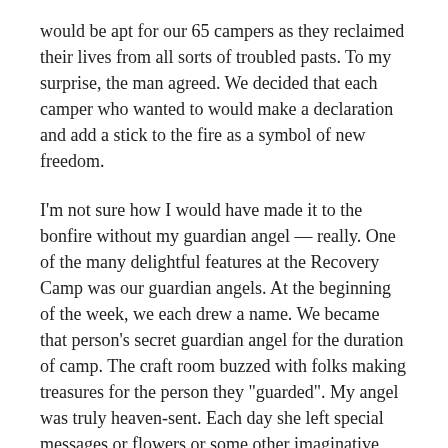would be apt for our 65 campers as they reclaimed their lives from all sorts of troubled pasts. To my surprise, the man agreed. We decided that each camper who wanted to would make a declaration and add a stick to the fire as a symbol of new freedom.
I'm not sure how I would have made it to the bonfire without my guardian angel — really. One of the many delightful features at the Recovery Camp was our guardian angels. At the beginning of the week, we each drew a name. We became that person's secret guardian angel for the duration of camp. The craft room buzzed with folks making treasures for the person they "guarded". My angel was truly heaven-sent. Each day she left special messages or flowers or some other imaginative surprise in my cubby.
On the morning of the bonfire a large bunch of tied-together sticks rested on the floor below my cubby. It was much too large to fit in the cubicle. Someone had attached a note to it